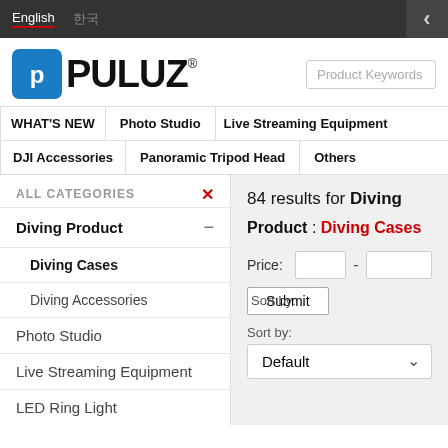English  한국어
[Figure (logo): PULUZ brand logo with blue icon and black text]
Product Keywords
WHAT'S NEW
Photo Studio
Live Streaming Equipment
DJI Accessories
Panoramic Tripod Head
Others
ALL CATEGORIES
Diving Product −
Diving Cases
Diving Accessories
Photo Studio
Live Streaming Equipment
LED Ring Light
Camera Accessories +
DJI Accessories
84 results for Diving
Product : Diving Cases
Price: -
Sort by:
Default